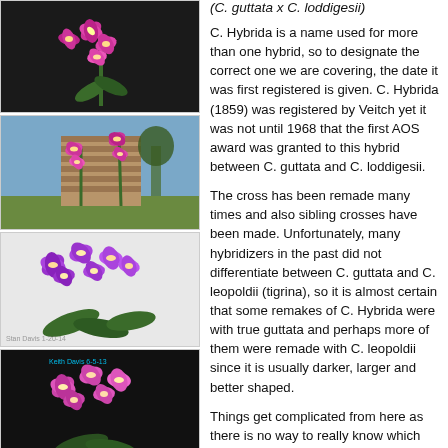[Figure (photo): Pink/magenta orchid (Cattleya) with multiple flowers on a dark background, vertical spike]
[Figure (photo): Two orchid spikes with pink flowers growing near a stone wall outdoors]
[Figure (photo): Cluster of bright purple/magenta orchid flowers with green leaves, watermark 'Stan Davis 1-20-14']
[Figure (photo): Dark background photo of pink/magenta orchid cluster, watermark 'Keith Davis 6-5-13']
(C. guttata x C. loddigesii)
C. Hybrida is a name used for more than one hybrid, so to designate the correct one we are covering, the date it was first registered is given. C. Hybrida (1859) was registered by Veitch yet it was not until 1968 that the first AOS award was granted to this hybrid between C. guttata and C. loddigesii.
The cross has been remade many times and also sibling crosses have been made. Unfortunately, many hybridizers in the past did not differentiate between C. guttata and C. leopoldii (tigrina), so it is almost certain that some remakes of C. Hybrida were with true guttata and perhaps more of them were remade with C. leopoldii since it is usually darker, larger and better shaped.
Things get complicated from here as there is no way to really know which